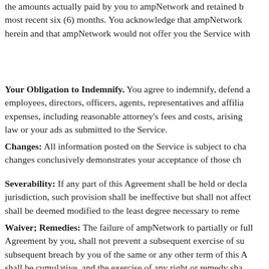the amounts actually paid by you to ampNetwork and retained b most recent six (6) months. You acknowledge that ampNetwork herein and that ampNetwork would not offer you the Service with
Your Obligation to Indemnify. You agree to indemnify, defend a employees, directors, officers, agents, representatives and affilia expenses, including reasonable attorney's fees and costs, arising law or your ads as submitted to the Service.
Changes: All information posted on the Service is subject to cha changes conclusively demonstrates your acceptance of those ch
Severability: If any part of this Agreement shall be held or decla jurisdiction, such provision shall be ineffective but shall not affect shall be deemed modified to the least degree necessary to reme
Waiver; Remedies: The failure of ampNetwork to partially or full Agreement by you, shall not prevent a subsequent exercise of su subsequent breach by you of the same or any other term of this A shall be cumulative, and the exercise of any right or remedy sha
Third Party Beneficiary; Assignment. Each Partner is an inten limitation, the right to enforce any terms and conditions directly a